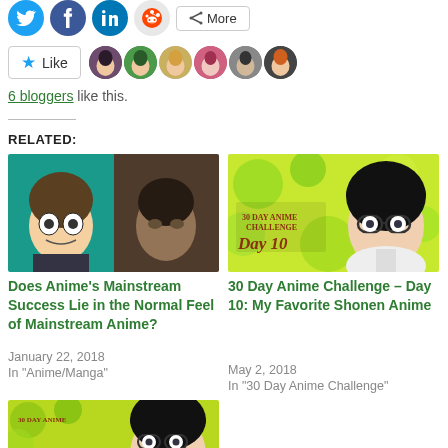[Figure (other): Social share buttons row: Twitter, Facebook, LinkedIn, Reddit icons and More button]
[Figure (other): Like button with star icon and 6 blogger avatar photos]
6 bloggers like this.
RELATED:
[Figure (photo): Thumbnail image for 'Does Anime's Mainstream Success Lie in the Normal Feel of Mainstream Anime?' showing two anime characters]
Does Anime's Mainstream Success Lie in the Normal Feel of Mainstream Anime?
January 22, 2018
In "Anime/Manga"
[Figure (photo): Thumbnail image for '30 Day Anime Challenge - Day 10: My Favorite Shonen Anime' showing anime character with glasses]
30 Day Anime Challenge – Day 10: My Favorite Shonen Anime
May 2, 2018
In "30 Day Anime Challenge"
[Figure (photo): Bottom thumbnail showing 30 Day Anime Challenge image (partially visible)]